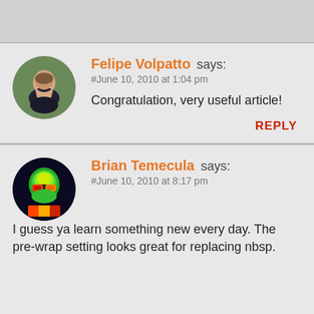Felipe Volpatto says:
#June 10, 2010 at 1:04 pm

Congratulation, very useful article!

REPLY
[Figure (photo): Circular avatar photo of Felipe Volpatto, a young man smiling, with greenery in background]
Brian Temecula says:
#June 10, 2010 at 8:17 pm

I guess ya learn something new every day. The pre-wrap setting looks great for replacing nbsp.
[Figure (photo): Circular avatar photo of Brian Temecula, a thermal/infrared style image of a face with sunglasses]